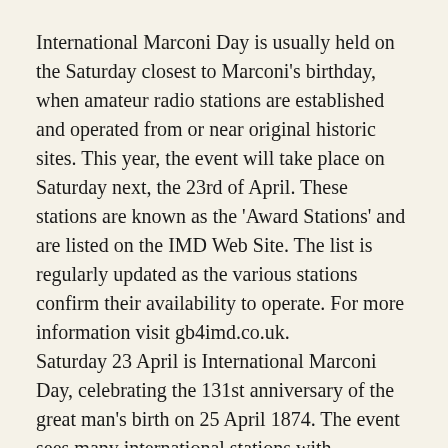International Marconi Day is usually held on the Saturday closest to Marconi's birthday, when amateur radio stations are established and operated from or near original historic sites. This year, the event will take place on Saturday next, the 23rd of April. These stations are known as the 'Award Stations' and are listed on the IMD Web Site. The list is regularly updated as the various stations confirm their availability to operate. For more information visit gb4imd.co.uk.
Saturday 23 April is International Marconi Day, celebrating the 131st anniversary of the great man's birth on 25 April 1874. The event sees many international stations with connections with Marconi active on HF. The event is organised by the Cornish Radio Amateur Club, which will be operating G4IMD, from the Marconi Centre in Poldhu Cove, from where the first transatlantic transmission took place in 1901. There are many awards available for working the